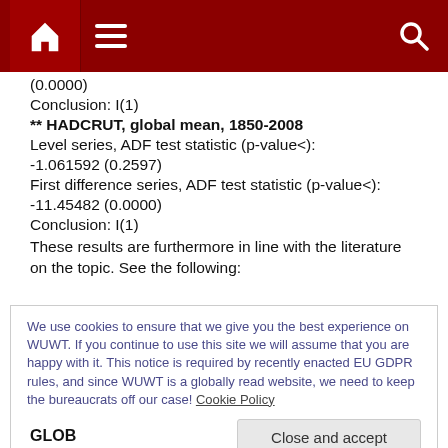[Figure (screenshot): Dark red navigation bar with home icon, hamburger menu icon, and search icon]
(0.0000)
Conclusion: I(1)
** HADCRUT, global mean, 1850-2008
Level series, ADF test statistic (p-value<):
-1.061592 (0.2597)
First difference series, ADF test statistic (p-value<):
-11.45482 (0.0000)
Conclusion: I(1)
These results are furthermore in line with the literature on the topic. See the following:
We use cookies to ensure that we give you the best experience on WUWT. If you continue to use this site we will assume that you are happy with it. This notice is required by recently enacted EU GDPR rules, and since WUWT is a globally read website, we need to keep the bureaucrats off our case! Cookie Policy
Close and accept
GLOB